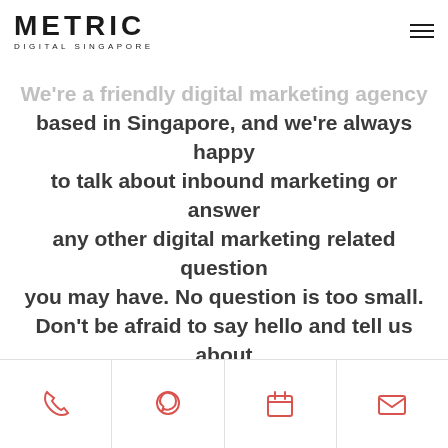[Figure (logo): Metric Digital Singapore logo — bold METRIC text with DIGITAL SINGAPORE subtitle]
We're a friendly digital marketing agency based in Singapore, and we're always happy to talk about inbound marketing or answer any other digital marketing related question you may have. No question is too small. Don't be afraid to say hello and tell us about your digital marketing needs.
[Figure (infographic): Bottom icon bar with four icons: phone, WhatsApp chat bubble, calendar, and email envelope — all in red/pink color on white background with dividers]